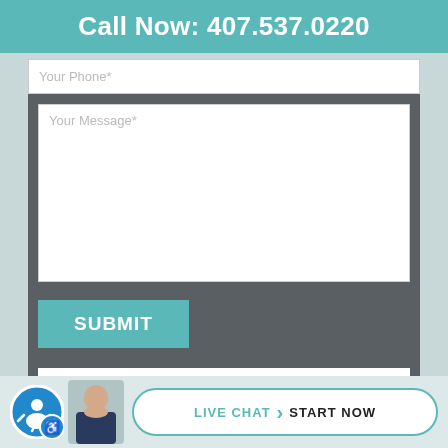Call Now: 407.537.0220
Your Phone*
Your Message*
SUBMIT
Sign me up for your newsletter
LIVE CHAT  START NOW